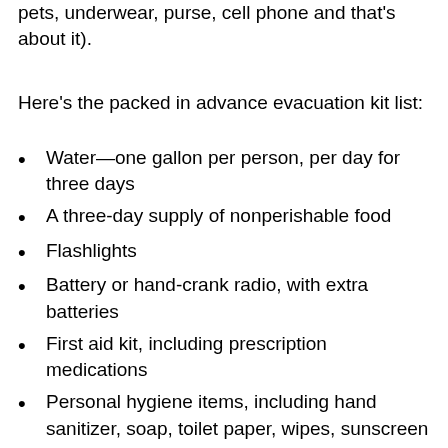pets, underwear, purse, cell phone and that's about it).
Here's the packed in advance evacuation kit list:
Water—one gallon per person, per day for three days
A three-day supply of nonperishable food
Flashlights
Battery or hand-crank radio, with extra batteries
First aid kit, including prescription medications
Personal hygiene items, including hand sanitizer, soap, toilet paper, wipes, sunscreen and insect repellent
Copies of personal documents (deed/lease to home, passports, birth certificates, insurance policies) and a plastic pouch to keep them in